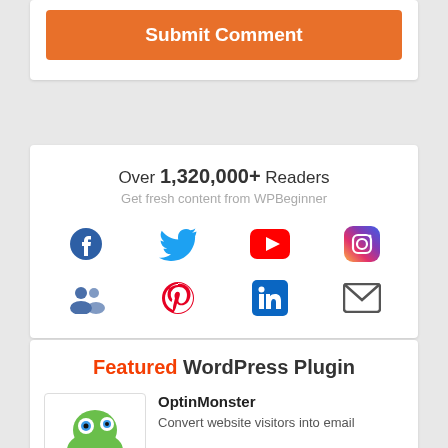[Figure (other): Orange Submit Comment button]
Over 1,320,000+ Readers
Get fresh content from WPBeginner
[Figure (infographic): Social media icons grid: Facebook, Twitter, YouTube, Instagram, Groups, Pinterest, LinkedIn, Email]
Featured WordPress Plugin
OptinMonster
Convert website visitors into email